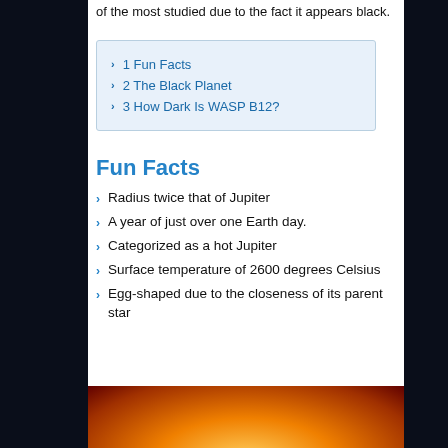of the most studied due to the fact it appears black.
1 Fun Facts
2 The Black Planet
3 How Dark Is WASP B12?
Fun Facts
Radius twice that of Jupiter
A year of just over one Earth day.
Categorized as a hot Jupiter
Surface temperature of 2600 degrees Celsius
Egg-shaped due to the closeness of its parent star
[Figure (photo): Orange glowing celestial body (star or planet) visible from bottom of page]